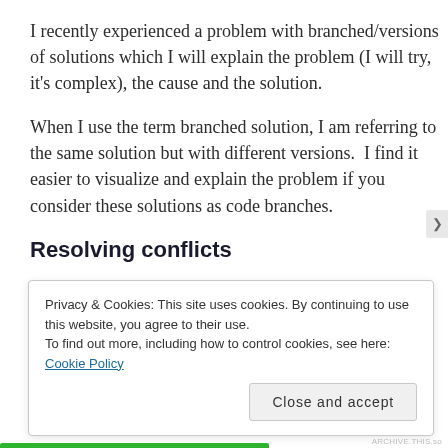I recently experienced a problem with branched/versions of solutions which I will explain the problem (I will try, it's complex), the cause and the solution.
When I use the term branched solution, I am referring to the same solution but with different versions.  I find it easier to visualize and explain the problem if you consider these solutions as code branches.
Resolving conflicts
Privacy & Cookies: This site uses cookies. By continuing to use this website, you agree to their use.
To find out more, including how to control cookies, see here: Cookie Policy
Close and accept